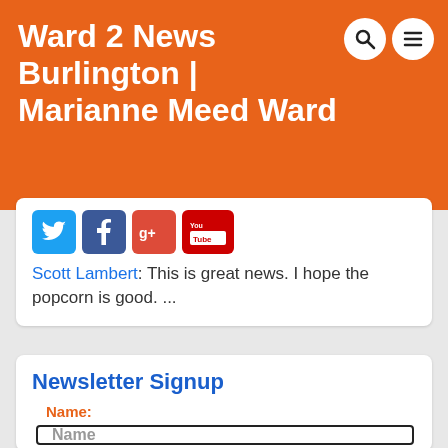Ward 2 News Burlington | Marianne Meed Ward
Scott Lambert: This is great news. I hope the popcorn is good. ...
Newsletter Signup
Name:
Name
Email (required):
Email*